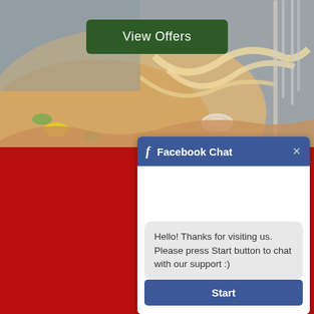[Figure (photo): Blurred close-up photo of pizza or food dish with melted cheese and toppings, with a fork visible on the right side. Top half of the page serves as app hero image background.]
View Offers
[Figure (screenshot): Facebook Chat widget popup overlay on the lower right portion of the screen. Contains blue header bar with Facebook 'f' icon and 'Facebook Chat' title with close X button. Body shows a grey message bubble with text 'Hello! Thanks for visiting us. Please press Start button to chat with our support :)' and a blue 'Start' button at the bottom.]
Facebook Chat
Hello! Thanks for visiting us. Please press Start button to chat with our support :)
Start